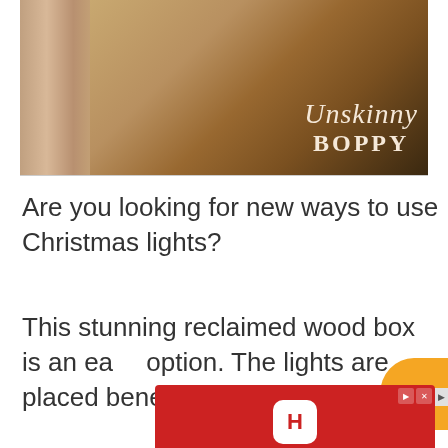[Figure (photo): Interior home photo showing a wooden staircase newel post and hardwood floors with warm lighting in background. Overlaid with 'Unskinny Boppy' script logo in cream/white text.]
Are you looking for new ways to use Christmas lights?
This stunning reclaimed wood box is an easy option. The lights are placed beneath a bed
[Figure (other): Hotels.com advertisement banner with red background, Hotels.com app icon, Hotels.com logo, and BOOK NOW button.]